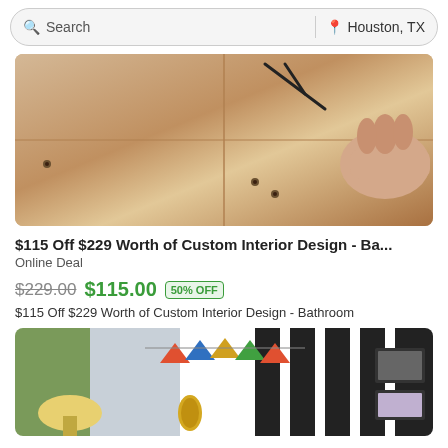Search | Houston, TX
[Figure (photo): Person installing or handling wood flooring panels with screws visible]
$115 Off $229 Worth of Custom Interior Design - Ba...
Online Deal
$229.00  $115.00  50% OFF
$115 Off $229 Worth of Custom Interior Design - Bathroom
[Figure (photo): Colorful decorated room with black and white striped walls, bunting flags, curtains, and a lamp]